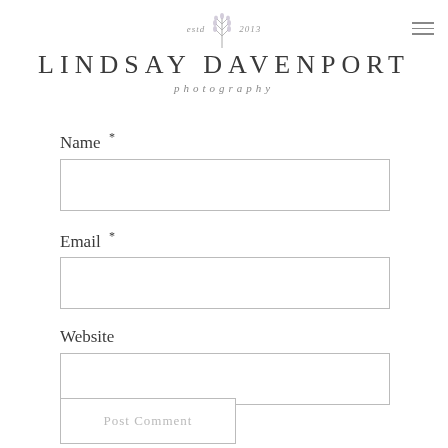[Figure (logo): Lindsay Davenport Photography logo with lavender sprig illustration, 'estd 2013' text, brand name in spaced uppercase, and 'photography' in italic]
Name *
Email *
Website
Post Comment